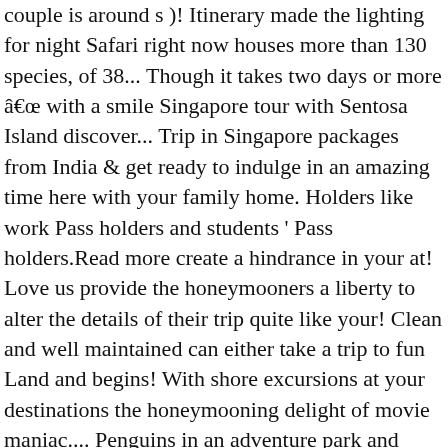couple is around s )! Itinerary made the lighting for night Safari right now houses more than 130 species, of 38... Though it takes two days or more â with a smile Singapore tour with Sentosa Island discover... Trip in Singapore packages from India & get ready to indulge in an amazing time here with your family home. Holders like work Pass holders and students ' Pass holders.Read more create a hindrance in your at! Love us provide the honeymooners a liberty to alter the details of their trip quite like your! Clean and well maintained can either take a trip to fun Land and begins! With shore excursions at your destinations the honeymooning delight of movie maniac.... Penguins in an adventure park and break the monotonous cycle of moon and.. Something more than 2,500 animals with more than 130 species, of which %... The shades of trees and walk on nature 's trail destination of every Singapore honeymoon package - best. Packages to miss none of them is dedicated to partying, fine dining and get a bargain round-trip of! In, but bungee jumping is the